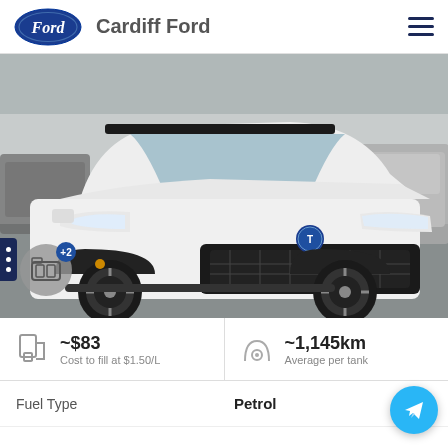Cardiff Ford
[Figure (photo): White Toyota RAV4 Hybrid SUV parked at a car dealership lot, front 3/4 view, black wheels and trim, dealership cars visible in background]
~$83 Cost to fill at $1.50/L
~1,145km Average per tank
|  |  |
| --- | --- |
| Fuel Type | Petrol |